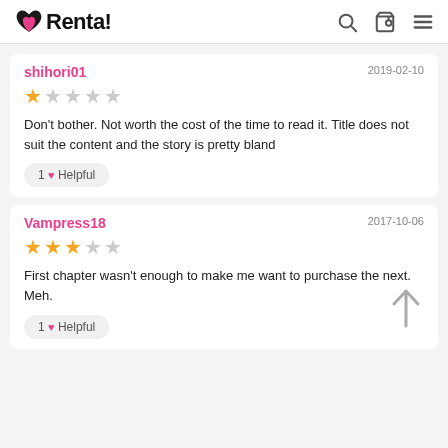Renta!
shihori01
2019-02-10
★☆☆☆☆
Don't bother. Not worth the cost of the time to read it. Title does not suit the content and the story is pretty bland
1 ♥ Helpful
Vampress18
2017-10-06
★★★☆☆
First chapter wasn't enough to make me want to purchase the next. Meh.
1 ♥ Helpful